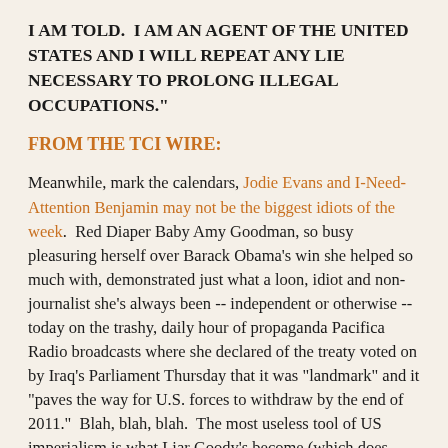I AM TOLD.  I AM AN AGENT OF THE UNITED STATES AND I WILL REPEAT ANY LIE NECESSARY TO PROLONG ILLEGAL OCCUPATIONS."
FROM THE TCI WIRE:
Meanwhile, mark the calendars, Jodie Evans and I-Need-Attention Benjamin may not be the biggest idiots of the week.  Red Diaper Baby Amy Goodman, so busy pleasuring herself over Barack Obama's win she helped so much with, demonstrated just what a loon, idiot and non-journalist she's always been -- independent or otherwise -- today on the trashy, daily hour of propaganda Pacifica Radio broadcasts where she declared of the treaty voted on by Iraq's Parliament Thursday that it was "landmark" and it "paves the way for U.S. forces to withdraw by the end of 2011."  Blah, blah, blah.  The most useless tool of US imperialism is what Liar Goody's become (which does explain her week at the Aspen Institute last summer and her need to parade their speakers on her program without informing her listeners of that fact) decided the way to 'round out' her propaganda was to quote the puppet of the occupation Nouri al-Maliki -- surely a trusted voice!  Democracy Sometimes! cries Goody, just never, ever today.  So nice of the non-